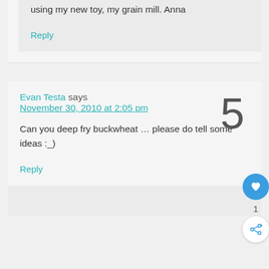using my new toy, my grain mill. Anna
Reply
Evan Testa says November 30, 2010 at 2:05 pm
5
Can you deep fry buckwheat … please do tell some ideas :_)
Reply